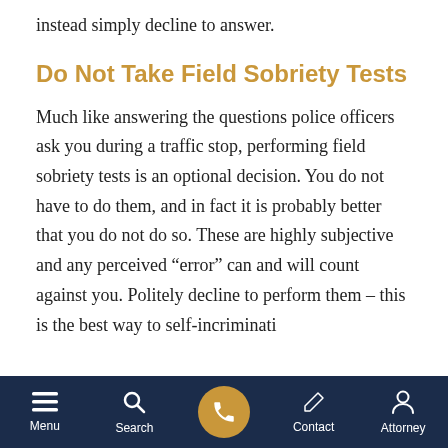instead simply decline to answer.
Do Not Take Field Sobriety Tests
Much like answering the questions police officers ask you during a traffic stop, performing field sobriety tests is an optional decision. You do not have to do them, and in fact it is probably better that you do not do so. These are highly subjective and any perceived “error” can and will count against you. Politely decline to perform them – this is the best way to self-incrimination
Menu | Search | [Call Button] | Contact | Attorney